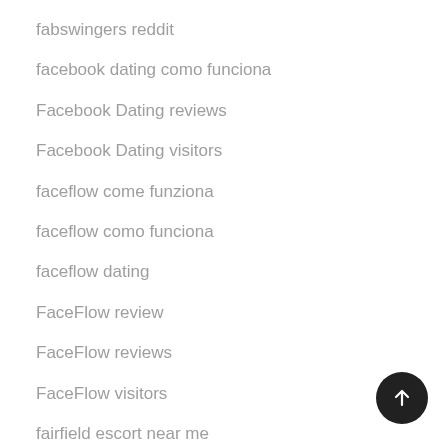fabswingers reddit
facebook dating como funciona
Facebook Dating reviews
Facebook Dating visitors
faceflow come funziona
faceflow como funciona
faceflow dating
FaceFlow review
FaceFlow reviews
FaceFlow visitors
fairfield escort near me
fairfield escort radar
fargo escort near me